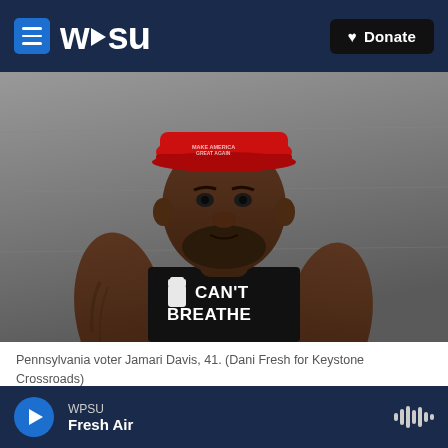WPSU | Donate
[Figure (photo): Pennsylvania voter Jamari Davis, 41, a large Black man wearing a red MAGA-style cap and a black sleeveless t-shirt reading 'I CAN'T BREATHE' with a raised fist graphic, standing in front of a concrete wall.]
Pennsylvania voter Jamari Davis, 41. (Dani Fresh for Keystone Crossroads)
Jamari Davis, 41, says this election comes down to
WPSU | Fresh Air